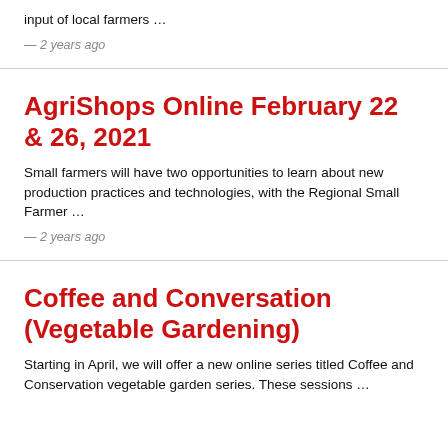input of local farmers …
— 2 years ago
AgriShops Online February 22 & 26, 2021
Small farmers will have two opportunities to learn about new production practices and technologies, with the Regional Small Farmer …
— 2 years ago
Coffee and Conversation (Vegetable Gardening)
Starting in April, we will offer a new online series titled Coffee and Conservation vegetable garden series. These sessions …